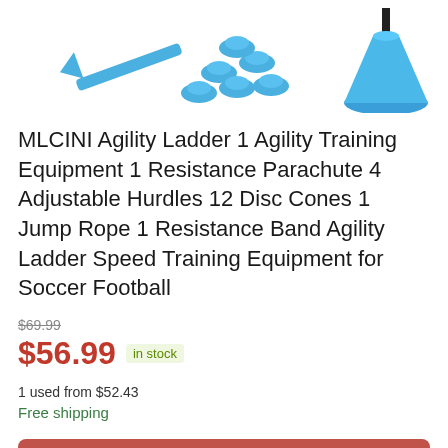[Figure (photo): Product image showing agility training equipment including a blue agility ladder/arrow, disc cones, and a cone marker on white background]
MLCINI Agility Ladder 1 Agility Training Equipment 1 Resistance Parachute 4 Adjustable Hurdles 12 Disc Cones 1 Jump Rope 1 Resistance Band Agility Ladder Speed Training Equipment for Soccer Football
$69.99
$56.99 in stock
1 used from $52.43
Free shipping
BUY NOW
Amazon.com